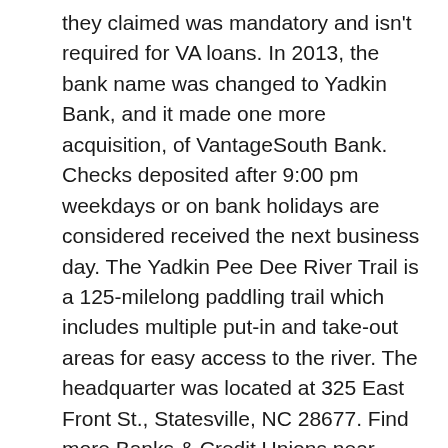they claimed was mandatory and isn't required for VA loans. In 2013, the bank name was changed to Yadkin Bank, and it made one more acquisition, of VantageSouth Bank. Checks deposited after 9:00 pm weekdays or on bank holidays are considered received the next business day. The Yadkin Pee Dee River Trail is a 125-milelong paddling trail which includes multiple put-in and take-out areas for easy access to the river. The headquarter was located at 325 East Front St., Statesville, NC 28677. Find more Banks & Credit Unions near Yadkin Valley Bank. Banks (336) 246-4644. The company's filing status is listed as Current-Active and its File Number is 0189177. View listing photos, review sales history, and use our detailed real estate filters to find the perfect place. Disclaimer: School attendance zone boundaries are supplied by Pitney Bowes and are subject to change.Check with the applicable school district prior to making a decision based on these boundaries. See